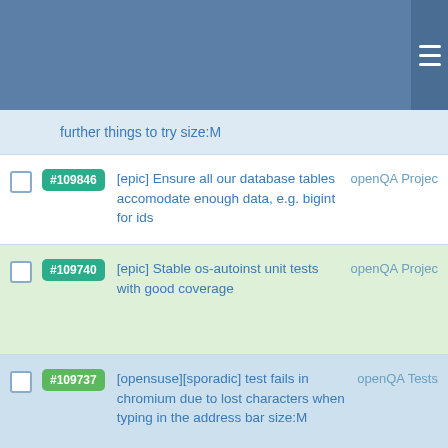further things to try size:M
#109846 [epic] Ensure all our database tables accomodate enough data, e.g. bigint for ids — openQA Project
#109740 [epic] Stable os-autoinst unit tests with good coverage — openQA Project
#109737 [opensuse][sporadic] test fails in chromium due to lost characters when typing in the address bar size:M — openQA Tests
#109668 [saga][epic] Stable and updated non-qemu backends for SLE validation — openQA Project